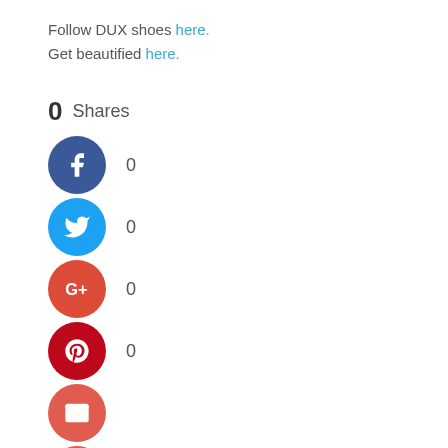Follow DUX shoes here. Get beautified here.
0 Shares
Facebook 0
Twitter 0
Google+ 0
Pinterest 0
Email
Like 0